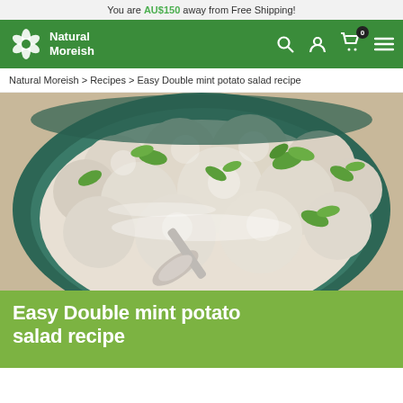You are AU$150 away from Free Shipping!
[Figure (logo): Natural Moreish logo with flower icon and navigation icons (search, account, cart with 0 badge, hamburger menu) on green background]
Natural Moreish > Recipes > Easy Double mint potato salad recipe
[Figure (photo): Bowl of small round potatoes coated in creamy dressing and garnished with fresh mint and herbs, with a spoon in the bowl]
Easy Double mint potato salad recipe